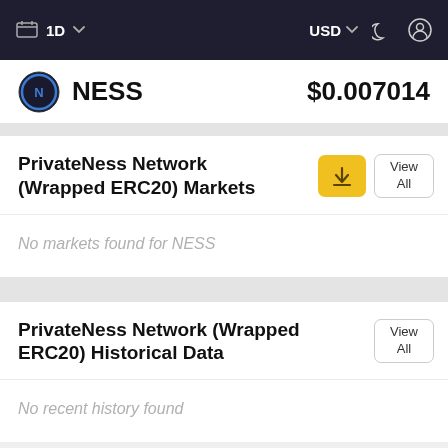1D  USD
NESS  $0.007014
PrivateNess Network (Wrapped ERC20) Markets
No markets found for NESS
PrivateNess Network (Wrapped ERC20) Historical Data
No recent history found